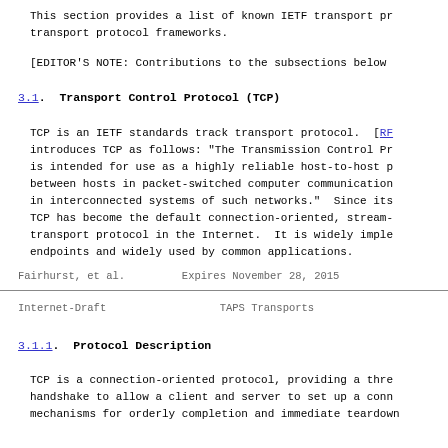This section provides a list of known IETF transport pr transport protocol frameworks.
[EDITOR'S NOTE: Contributions to the subsections below
3.1.  Transport Control Protocol (TCP)
TCP is an IETF standards track transport protocol.  [RF introduces TCP as follows: "The Transmission Control Pr is intended for use as a highly reliable host-to-host p between hosts in packet-switched computer communication in interconnected systems of such networks."  Since its TCP has become the default connection-oriented, stream- transport protocol in the Internet.  It is widely imple endpoints and widely used by common applications.
Fairhurst, et al.          Expires November 28, 2015
Internet-Draft                    TAPS Transports
3.1.1.  Protocol Description
TCP is a connection-oriented protocol, providing a thre handshake to allow a client and server to set up a conn mechanisms for orderly completion and immediate teardown